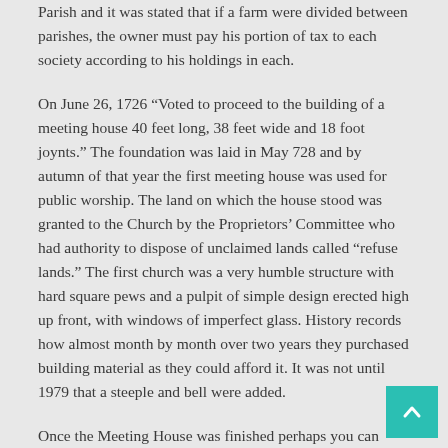Parish and it was stated that if a farm were divided between parishes, the owner must pay his portion of tax to each society according to his holdings in each.
On June 26, 1726 “Voted to proceed to the building of a meeting house 40 feet long, 38 feet wide and 18 foot joynts.” The foundation was laid in May 728 and by autumn of that year the first meeting house was used for public worship. The land on which the house stood was granted to the Church by the Proprietors’ Committee who had authority to dispose of unclaimed lands called “refuse lands.” The first church was a very humble structure with hard square pews and a pulpit of simple design erected high up front, with windows of imperfect glass. History records how almost month by month over two years they purchased building material as they could afford it. It was not until 1979 that a steeple and bell were added.
Once the Meeting House was finished perhaps you can imagine families strolling from all directions on Sunday morning toward their church on the hill — mother in her long full skirt, wearing her shawl and bonnet tied under her